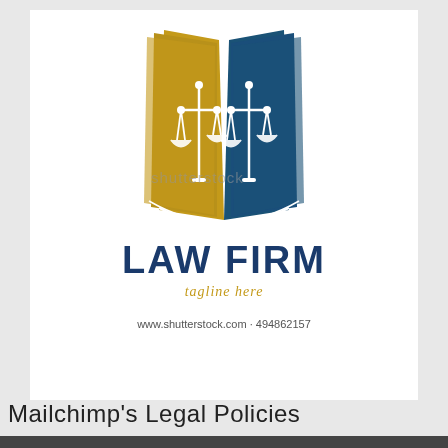[Figure (logo): Law firm logo: open book with gold left page and blue right page, each page featuring a white scales of justice icon. Watermark text 'shutterstock' overlaid across the image.]
LAW FIRM
tagline here
www.shutterstock.com · 494862157
Mailchimp's Legal Policies